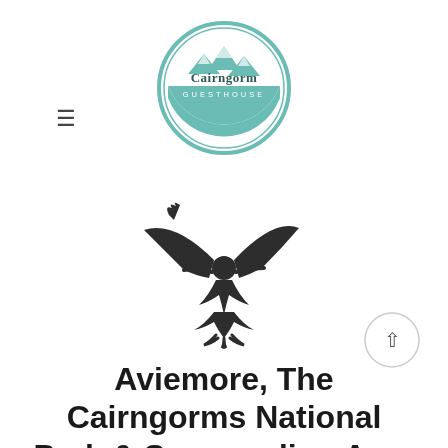[Figure (logo): Cairngorm Guesthouse circular logo with teal border, mountains and text inside]
≡ (hamburger menu icon)
[Figure (logo): Black silhouette of a bird/eagle with a human figure, wings spread upward]
Aviemore, The Cairngorms National Park & Surrounding Area
[Figure (illustration): Up arrow button icon in a circle on the right side]